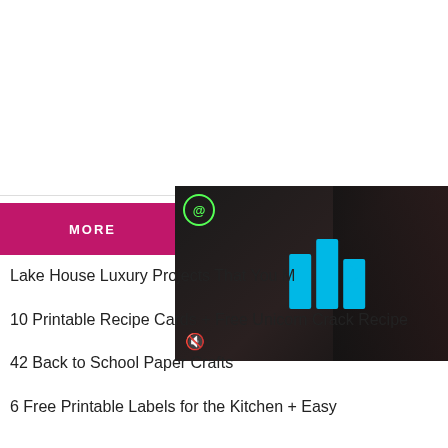[Figure (screenshot): White blank area at top of webpage]
MORE
[Figure (screenshot): Video player overlay with cyan bars logo, play button, circle Q icon, and mute icon on dark background]
Lake House Luxury Projects That You M
10 Printable Recipe Cards + Free Unicorn Crack Recipe
42 Back to School Paper Crafts
6 Free Printable Labels for the Kitchen + Easy